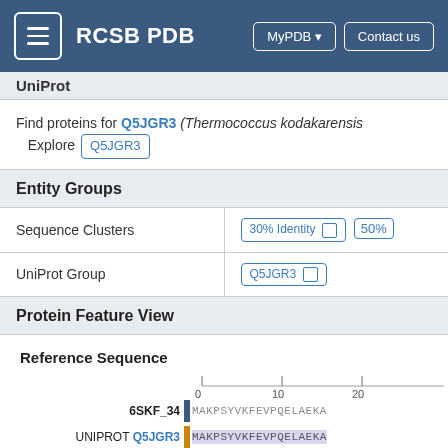RCSB PDB — MyPDB | Contact us
UniProt
Find proteins for Q5JGR3 (Thermococcus kodakarensis) Explore Q5JGR3
Entity Groups
|  |  |
| --- | --- |
| Sequence Clusters | 30% Identity  50% |
| UniProt Group | Q5JGR3 |
Protein Feature View
Reference Sequence
[Figure (other): Protein sequence alignment viewer showing rows: 6SKF_34 with sequence MAKPSYVKFEVPQELAEKA, UNIPROT Q5JGR3 with highlighted sequence MAKPSYVKFEVPQELAEKA, UNMODELED HA[auth BH] with grey box, UNMODELED IA[auth BI] with grey box. Ruler shows positions 0, 10, 20.]